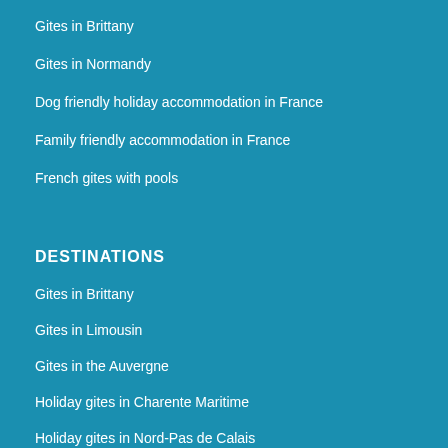Gites in Brittany
Gites in Normandy
Dog friendly holiday accommodation in France
Family friendly accommodation in France
French gites with pools
DESTINATIONS
Gites in Brittany
Gites in Limousin
Gites in the Auvergne
Holiday gites in Charente Maritime
Holiday gites in Nord-Pas de Calais